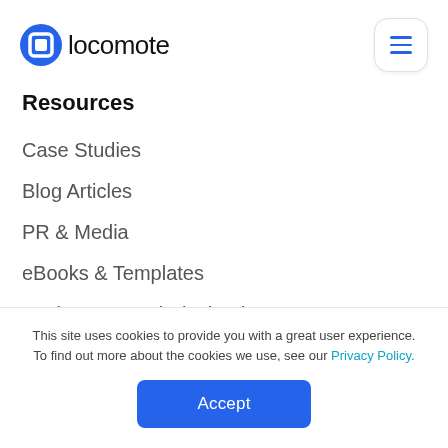[Figure (logo): Locomote logo: blue circle with white square icon, followed by text 'locomote']
Resources
Case Studies
Blog Articles
PR & Media
eBooks & Templates
Business Travel Playbooks
Travel Advisory
Savings Calculator
This site uses cookies to provide you with a great user experience. To find out more about the cookies we use, see our Privacy Policy.